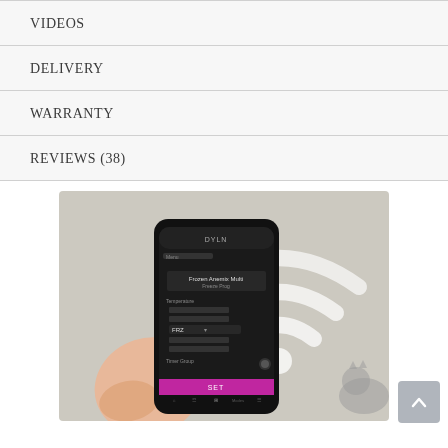VIDEOS
DELIVERY
WARRANTY
REVIEWS (38)
[Figure (photo): A hand holding a smartphone displaying a dark-themed app interface with pink/magenta accent color, showing a product control screen. In the background, a large white WiFi symbol is visible on a light wall, and a blurred cat is partially visible in the lower right corner.]